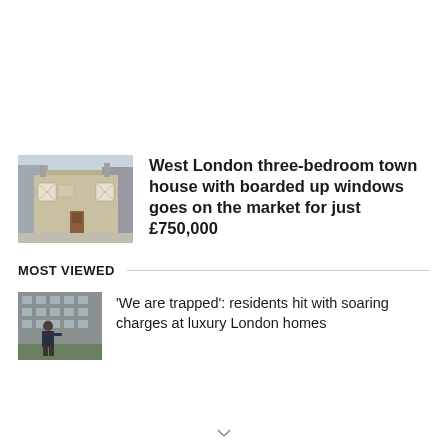[Figure (photo): Photo of a West London three-bedroom town house with boarded up windows]
West London three-bedroom town house with boarded up windows goes on the market for just £750,000
MOST VIEWED
[Figure (photo): Photo of a man standing outside luxury London apartment building]
'We are trapped': residents hit with soaring charges at luxury London homes